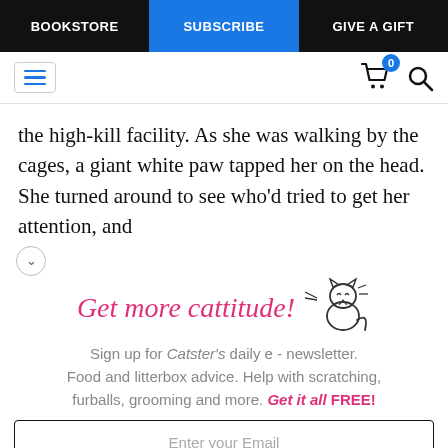BOOKSTORE | SUBSCRIBE | GIVE A GIFT
[Figure (screenshot): Website header with hamburger menu icon, cart icon with badge showing 0, and search icon]
the high-kill facility. As she was walking by the cages, a giant white paw tapped her on the head. She turned around to see who'd tried to get her attention, and
[Figure (illustration): Cat illustration with lines indicating movement, smiling cat face]
Get more cattitude!
Sign up for Catster's daily e - newsletter. Food and litterbox advice. Help with scratching, furballs, grooming and more. Get it all FREE!
Enter your Email
YES! SIGN ME UP